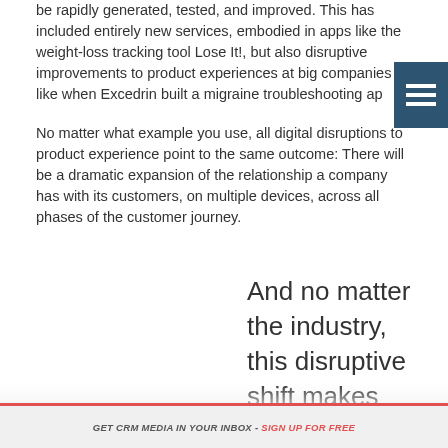be rapidly generated, tested, and improved. This has included entirely new services, embodied in apps like the weight-loss tracking tool Lose It!, but also disruptive improvements to product experiences at big companies like when Excedrin built a migraine troubleshooting ap…
No matter what example you use, all digital disruptions to product experience point to the same outcome: There will be a dramatic expansion of the relationship a company has with its customers, on multiple devices, across all phases of the customer journey.
And no matter the industry, this disruptive shift makes the customer experience more…
GET CRM MEDIA IN YOUR INBOX - SIGN UP FOR FREE